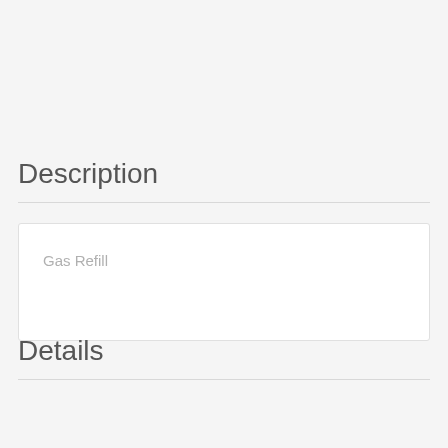Description
Gas Refill
Details